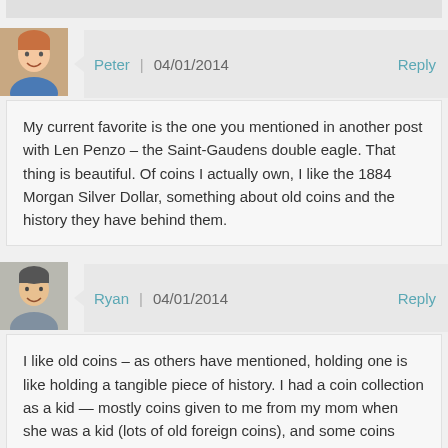[Figure (photo): Partial top bar/header of a previous comment (cropped)]
[Figure (photo): Avatar photo of Peter, a smiling young man]
Peter | 04/01/2014   Reply
My current favorite is the one you mentioned in another post with Len Penzo – the Saint-Gaudens double eagle. That thing is beautiful. Of coins I actually own, I like the 1884 Morgan Silver Dollar, something about old coins and the history they have behind them.
[Figure (photo): Avatar photo of Ryan, a smiling man]
Ryan | 04/01/2014   Reply
I like old coins – as others have mentioned, holding one is like holding a tangible piece of history. I had a coin collection as a kid — mostly coins given to me from my mom when she was a kid (lots of old foreign coins), and some coins given to me by my grandfather who was a serious coin collector.